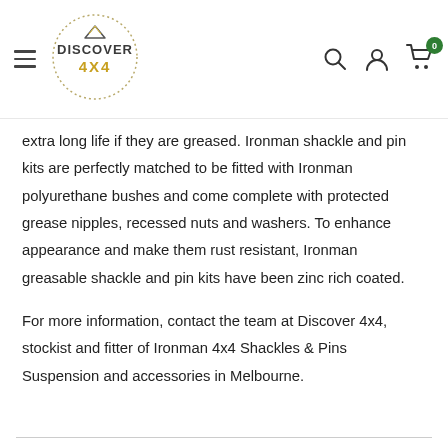[Figure (logo): Discover 4x4 logo: circular dotted border with mountain icon, DISCOVER text in dark gray, 4X4 text in gold/yellow]
extra long life if they are greased. Ironman shackle and pin kits are perfectly matched to be fitted with Ironman polyurethane bushes and come complete with protected grease nipples, recessed nuts and washers. To enhance appearance and make them rust resistant, Ironman greasable shackle and pin kits have been zinc rich coated.
For more information, contact the team at Discover 4x4, stockist and fitter of Ironman 4x4 Shackles & Pins Suspension and accessories in Melbourne.